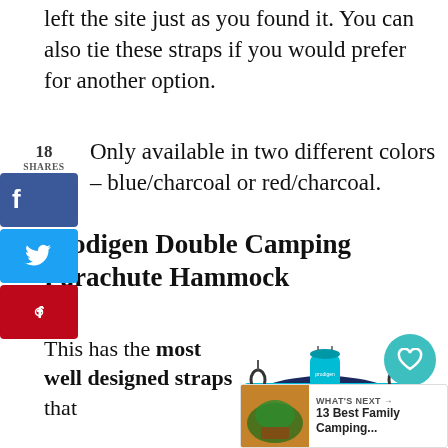left the site just as you found it. You can also tie these straps if you would prefer for another option.
Only available in two different colors – blue/charcoal or red/charcoal.
Prodigen Double Camping Parachute Hammock
This has the most well designed straps that
[Figure (photo): Photo of a blue and cyan camping hammock with a stuff sack]
WHAT'S NEXT → 13 Best Family Camping...